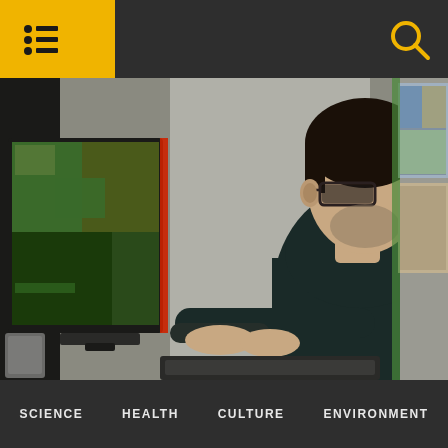SCIENCE HEALTH CULTURE ENVIRONMENT
[Figure (photo): Young man with glasses sitting at a desk, working on a computer. A large monitor to his left shows colorful imagery. He is wearing a dark long-sleeve shirt and viewed from the side in a dimly lit room with posters on the wall behind him.]
SCIENCE   HEALTH   CULTURE   ENVIRONMENT